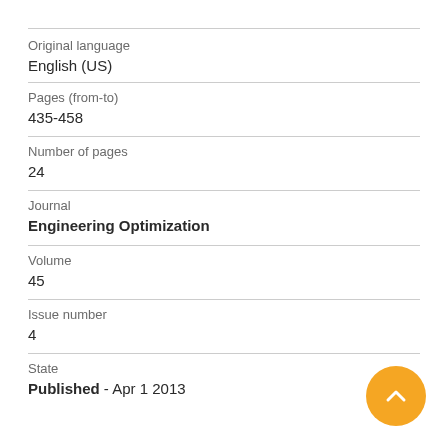Original language
English (US)
Pages (from-to)
435-458
Number of pages
24
Journal
Engineering Optimization
Volume
45
Issue number
4
State
Published - Apr 1 2013